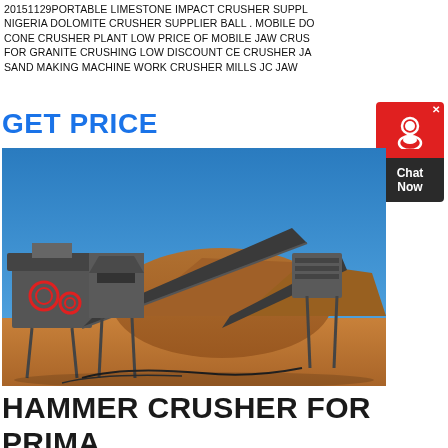20151129PORTABLE LIMESTONE IMPACT CRUSHER SUPPL NIGERIA DOLOMITE CRUSHER SUPPLIER BALL . MOBILE DO CONE CRUSHER PLANT LOW PRICE OF MOBILE JAW CRUS FOR GRANITE CRUSHING LOW DISCOUNT CE CRUSHER JA SAND MAKING MACHINE WORK CRUSHER MILLS JC JAW
GET PRICE
[Figure (photo): Outdoor photo of a large industrial hammer/impact crusher plant setup on a red-dirt construction/mining site with a blue sky background. The machinery includes conveyor belts, hoppers, and screening equipment.]
HAMMER CRUSHER FOR PRIMA DOLOMITE CRUSHING PROCES
DOLOMITE PROCESSING FLOW. BIG DOLOMITE MATERIALS